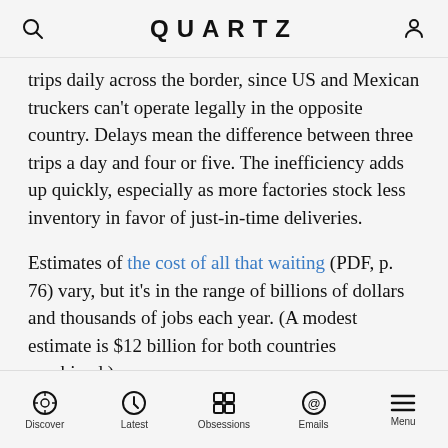QUARTZ
trips daily across the border, since US and Mexican truckers can't operate legally in the opposite country. Delays mean the difference between three trips a day and four or five. The inefficiency adds up quickly, especially as more factories stock less inventory in favor of just-in-time deliveries.
Estimates of the cost of all that waiting (PDF, p. 76) vary, but it's in the range of billions of dollars and thousands of jobs each year. (A modest estimate is $12 billion for both countries combined.)
What the bill does, and where it falls short
The current bill attempts to address the waiting issue…
Discover  Latest  Obsessions  Emails  Menu